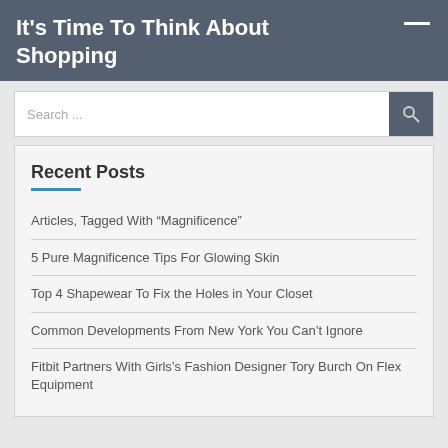It's Time To Think About Shopping
Search ...
Recent Posts
Articles, Tagged With “Magnificence”
5 Pure Magnificence Tips For Glowing Skin
Top 4 Shapewear To Fix the Holes in Your Closet
Common Developments From New York You Can’t Ignore
Fitbit Partners With Girls’s Fashion Designer Tory Burch On Flex Equipment